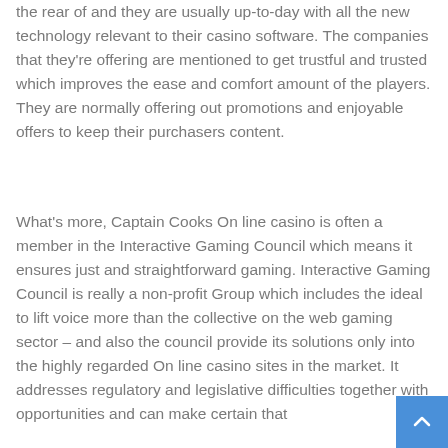the rear of and they are usually up-to-day with all the new technology relevant to their casino software. The companies that they're offering are mentioned to get trustful and trusted which improves the ease and comfort amount of the players. They are normally offering out promotions and enjoyable offers to keep their purchasers content.
What's more, Captain Cooks On line casino is often a member in the Interactive Gaming Council which means it ensures just and straightforward gaming. Interactive Gaming Council is really a non-profit Group which includes the ideal to lift voice more than the collective on the web gaming sector – and also the council provide its solutions only into the highly regarded On line casino sites in the market. It addresses regulatory and legislative difficulties together with opportunities and can make certain that